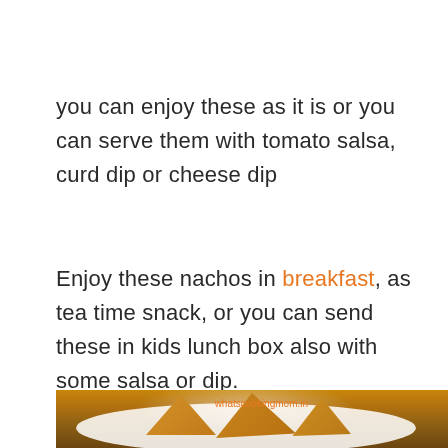you can enjoy these as it is or you can serve them with tomato salsa, curd dip or cheese dip
Enjoy these nachos in breakfast, as tea time snack, or you can send these in kids lunch box also with some salsa or dip.
[Figure (photo): Photo of fried nachos/chips on a white plate with a dipping sauce, hands holding a nacho piece. Watermark: whatscookingmom.in]